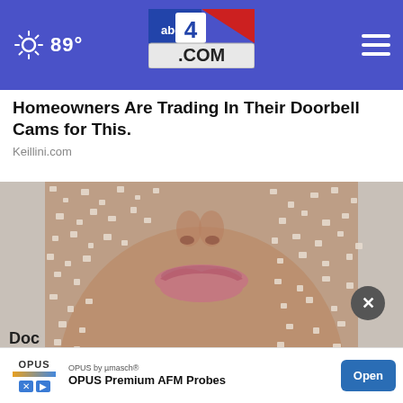89° abc4.com
Homeowners Are Trading In Their Doorbell Cams for This.
Keillini.com
[Figure (photo): Close-up photo of a person's face and lower jaw covered in salt or sugar crystal scrub, with lips visible]
Doctors Stunned: This Melts Belly Fat Like Crazy (Try Tonight)
[Figure (infographic): Advertisement banner: OPUS by µmasch® - OPUS Premium AFM Probes - Open button]